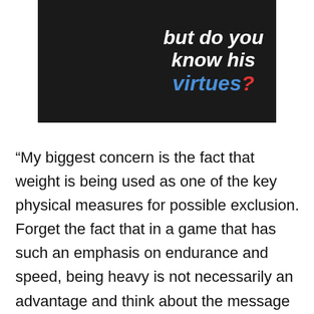[Figure (illustration): Dark image of a person with overlaid text reading 'but do you know his virtues?' in white and blue with a red question mark]
“My biggest concern is the fact that weight is being used as one of the key physical measures for possible exclusion. Forget the fact that in a game that has such an emphasis on endurance and speed, being heavy is not necessarily an advantage and think about the message it sends to women and girls about their bodies: if you’re too